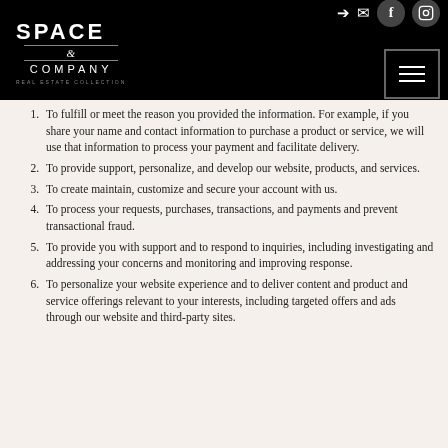Space & Company Real Estate Collection — header with logo and navigation icons
To fulfill or meet the reason you provided the information. For example, if you share your name and contact information to purchase a product or service, we will use that information to process your payment and facilitate delivery.
To provide support, personalize, and develop our website, products, and services.
To create maintain, customize and secure your account with us.
To process your requests, purchases, transactions, and payments and prevent transactional fraud.
To provide you with support and to respond to inquiries, including investigating and addressing your concerns and monitoring and improving response.
To personalize your website experience and to deliver content and product and service offerings relevant to your interests, including targeted offers and ads through our website and third-party sites.